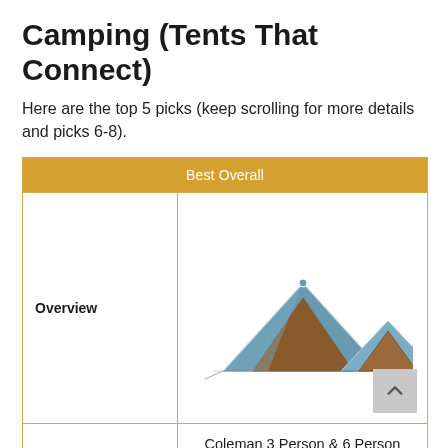Camping (Tents That Connect)
Here are the top 5 picks (keep scrolling for more details and picks 6-8).
| Best Overall |
| --- |
| Overview | [tent image] |
| Title | Coleman 3 Person & 6 Person Connecting Tents |